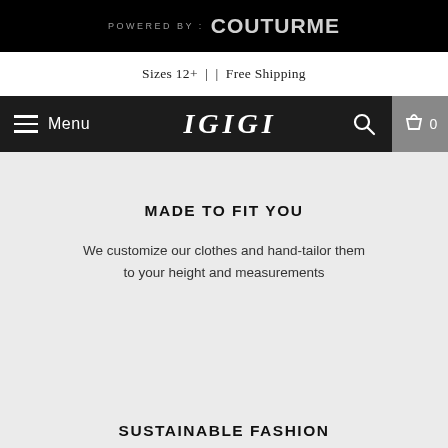POWERED BY : COUTURME
Sizes 12+ | | Free Shipping
Menu  IGIGI  0
MADE TO FIT YOU
We customize our clothes and hand-tailor them to your height and measurements
SUSTAINABLE FASHION